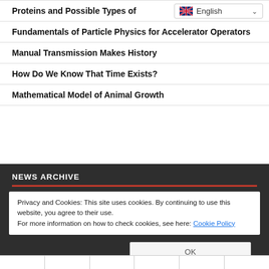Proteins and Possible Types of...
Fundamentals of Particle Physics for Accelerator Operators
Manual Transmission Makes History
How Do We Know That Time Exists?
Mathematical Model of Animal Growth
NEWS ARCHIVE
Privacy and Cookies: This site uses cookies. By continuing to use this website, you agree to their use.
For more information on how to check cookies, see here: Cookie Policy
OK